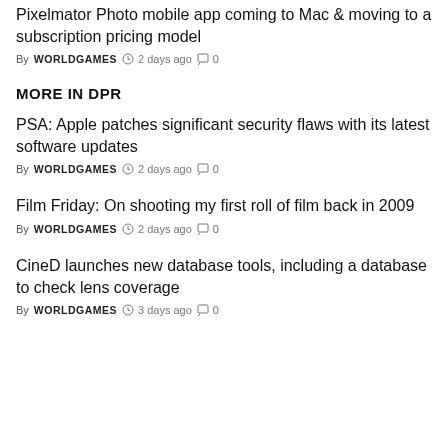Pixelmator Photo mobile app coming to Mac & moving to a subscription pricing model
By WORLDGAMES  2 days ago  0
MORE IN DPR
PSA: Apple patches significant security flaws with its latest software updates
By WORLDGAMES  2 days ago  0
Film Friday: On shooting my first roll of film back in 2009
By WORLDGAMES  2 days ago  0
CineD launches new database tools, including a database to check lens coverage
By WORLDGAMES  3 days ago  0